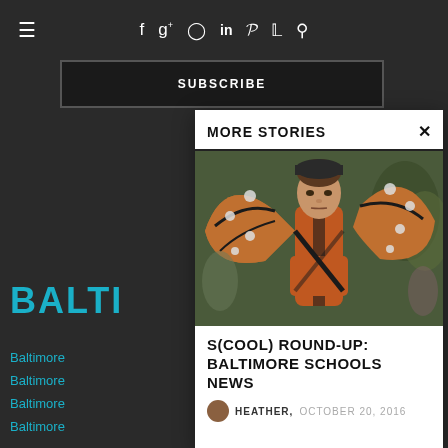≡  f  g+  ⊙  in  p  𝕏  🔍
SUBSCRIBE
BALTI
Baltimore
Baltimore
Baltimore
Baltimore
MORE STORIES
[Figure (photo): Young girl wearing an orange and black monarch butterfly costume with wings, looking seriously at the camera, outdoors in a park setting]
S(COOL) ROUND-UP: BALTIMORE SCHOOLS NEWS
HEATHER, OCTOBER 20, 2016